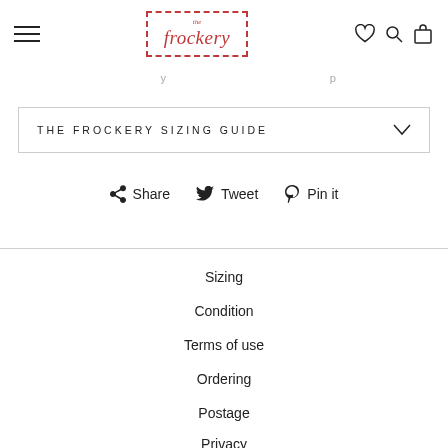the frockery
THE FROCKERY SIZING GUIDE
Share  Tweet  Pin it
Sizing
Condition
Terms of use
Ordering
Postage
Privacy